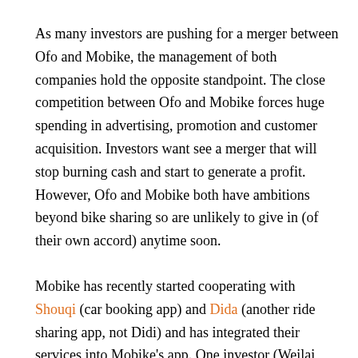As many investors are pushing for a merger between Ofo and Mobike, the management of both companies hold the opposite standpoint. The close competition between Ofo and Mobike forces huge spending in advertising, promotion and customer acquisition. Investors want see a merger that will stop burning cash and start to generate a profit. However, Ofo and Mobike both have ambitions beyond bike sharing so are unlikely to give in (of their own accord) anytime soon.
Mobike has recently started cooperating with Shouqi (car booking app) and Dida (another ride sharing app, not Didi) and has integrated their services into Mobike's app. One investor (Weilai Capital) of Mobike also invested in Shouqi, showing the support of Mobike's ambition into greater consumer transport territory (bike sharing and ride hailing).
However, with Didi sitting as their biggest shareholder, Ofo's